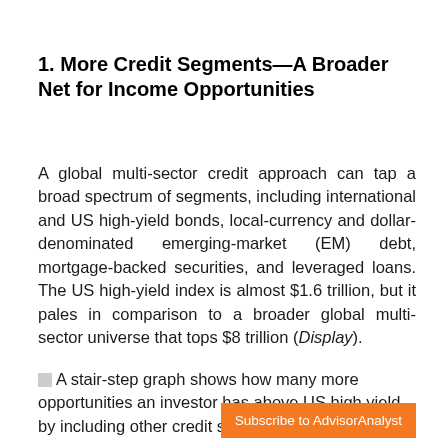1. More Credit Segments—A Broader Net for Income Opportunities
A global multi-sector credit approach can tap a broad spectrum of segments, including international and US high-yield bonds, local-currency and dollar-denominated emerging-market (EM) debt, mortgage-backed securities, and leveraged loans. The US high-yield index is almost $1.6 trillion, but it pales in comparison to a broader global multi-sector universe that tops $8 trillion (Display).
A stair-step graph shows how many more opportunities an investor has above US high yield by including other credit sectors.